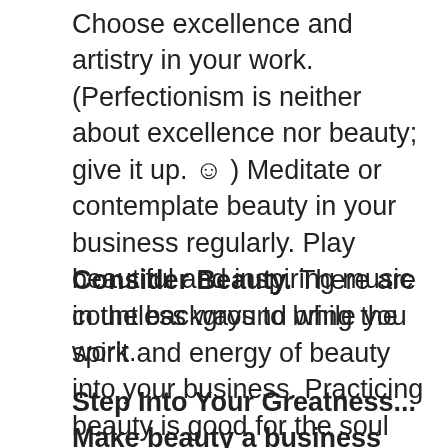Choose excellence and artistry in your work. (Perfectionism is neither about excellence nor beauty; give it up. ☺ ) Meditate or contemplate beauty in your business regularly. Play beautiful and inspiring music in the background while you work.
Consider Beauty. There are countless ways to bring the spirit and energy of beauty into your business. Practicing beauty is good for the soul and good for business.
Step Into Your Greatness...
Make beauty a business practice.